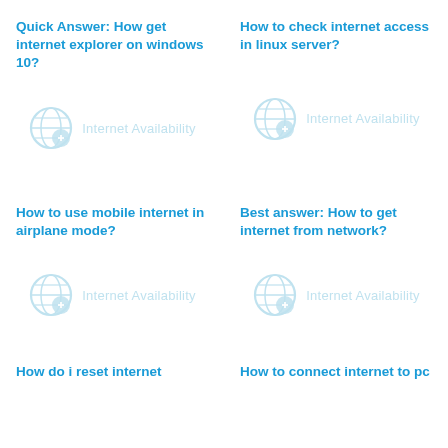Quick Answer: How get internet explorer on windows 10?
[Figure (logo): Internet Availability watermark logo with globe/network icon]
How to check internet access in linux server?
[Figure (logo): Internet Availability watermark logo with globe/network icon]
How to use mobile internet in airplane mode?
[Figure (logo): Internet Availability watermark logo with globe/network icon]
Best answer: How to get internet from network?
[Figure (logo): Internet Availability watermark logo with globe/network icon]
How do i reset internet
How to connect internet to pc